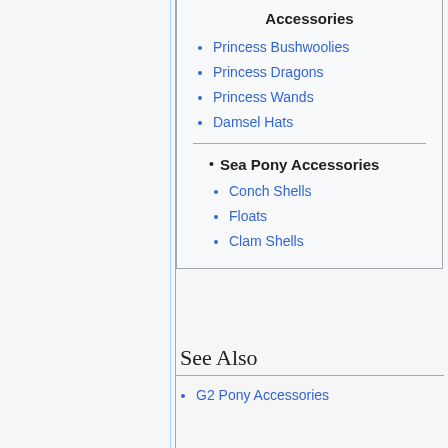Accessories
Princess Bushwoolies
Princess Dragons
Princess Wands
Damsel Hats
Sea Pony Accessories
Conch Shells
Floats
Clam Shells
See Also
G2 Pony Accessories